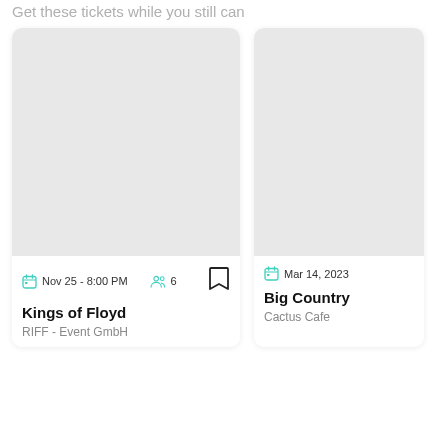Get these tickets while you still can
[Figure (other): Event card for Kings of Floyd showing a grey placeholder image, date Nov 25 - 8:00 PM, 6 attendees, bookmark icon, title Kings of Floyd, venue RIFF - Event GmbH]
[Figure (other): Event card for Big Country showing a grey placeholder image, date Mar 14, 2023, title Big Country, venue Cactus Cafe]